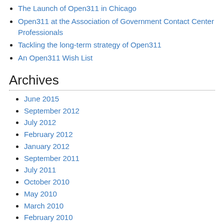The Launch of Open311 in Chicago
Open311 at the Association of Government Contact Center Professionals
Tackling the long-term strategy of Open311
An Open311 Wish List
Archives
June 2015
September 2012
July 2012
February 2012
January 2012
September 2011
July 2011
October 2010
May 2010
March 2010
February 2010
January 2010
November 2009
October 2009